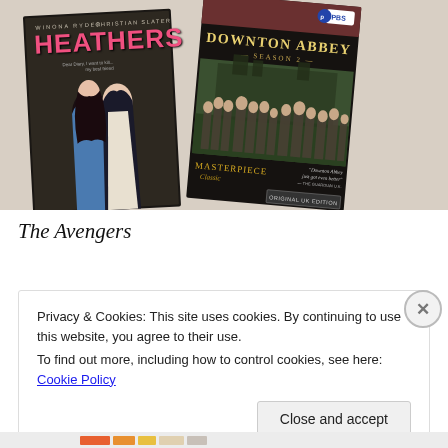[Figure (photo): Two DVD cases photographed on a light surface: 'Heathers' (starring Winona Ryder and Christian Slater) on the left with pink title text, and 'Downton Abbey Season 2' (PBS/Masterpiece Classic) on the right showing a group of period-costumed characters on a green lawn]
The Avengers
Privacy & Cookies: This site uses cookies. By continuing to use this website, you agree to their use.
To find out more, including how to control cookies, see here: Cookie Policy
Close and accept